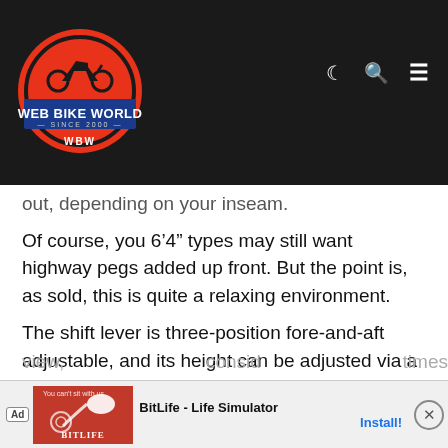[Figure (logo): Web Bike World logo — red and black circular badge with motorcycle silhouette, blue banner reading 'WEB BIKE WORLD', 'SINCE 2000', and 'WBW']
Web Bike World — since 2000, WBW
out, depending on your inseam.
Of course, you 6’4” types may still want highway pegs added up front. But the point is, as sold, this is quite a relaxing environment.
The shift lever is three-position fore-and-aft adjustable, and its height can be adjusted via a threaded rod; you have to let it come up pretty far on the uptick, so I guess a little shorter throw would be nice.
Out back, my wife tells me that she’s never had a better view, … consid… times
[Figure (screenshot): BitLife - Life Simulator advertisement banner with red background, app icon, and Install button]